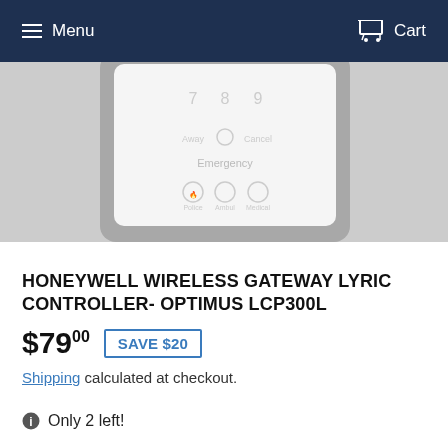Menu   Cart
[Figure (photo): Product photo of Honeywell Lyric LCP300L wireless gateway controller showing a white touchscreen panel with keypad buttons including Emergency label and fire/police/medical icons, in a silver/grey frame, cropped to show bottom half of device]
HONEYWELL WIRELESS GATEWAY LYRIC CONTROLLER- OPTIMUS LCP300L
$79.00  SAVE $20
Shipping calculated at checkout.
Only 2 left!